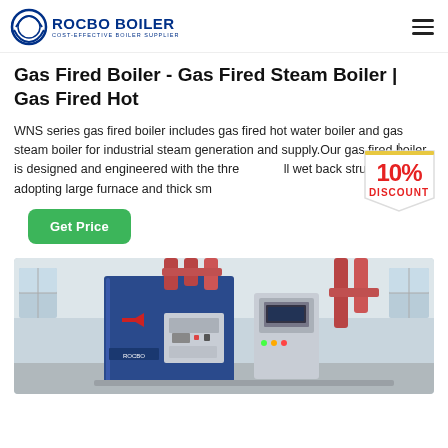ROCBO BOILER - COST-EFFECTIVE BOILER SUPPLIER
Gas Fired Boiler - Gas Fired Steam Boiler | Gas Fired Hot
WNS series gas fired boiler includes gas fired hot water boiler and gas steam boiler for industrial steam generation and supply. Our gas fired boiler is designed and engineered with the three-pass wet back structure, adopting large furnace and thick sm...
[Figure (other): 10% DISCOUNT badge/sticker overlay on right side of text]
[Figure (photo): Photo of a blue industrial gas fired boiler with control panels and red copper pipes in an industrial facility]